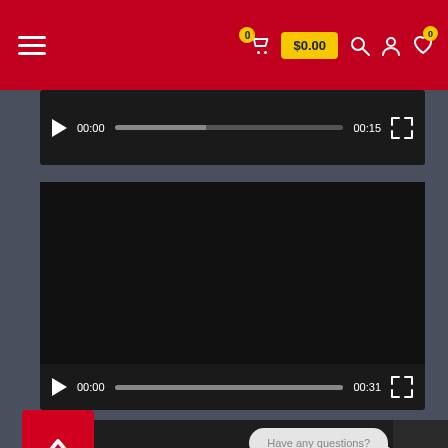[Figure (screenshot): Website navigation bar with hamburger menu on left, cart icon with badge '0', price button '$0.00', search icon, user icon, and heart/wishlist icon with badge '0' on red background]
[Figure (screenshot): Video player (top partial) with play button, time 00:00, progress bar, time 00:15, and fullscreen button on dark background]
[Figure (screenshot): Video player with dark/black content area, play button, time 00:00, progress bar, time 00:31, and fullscreen button]
[Figure (screenshot): Bottom dark panel with red back-to-top arrow button and chat bubble saying 'Have any questions?' with chat avatar area on right]